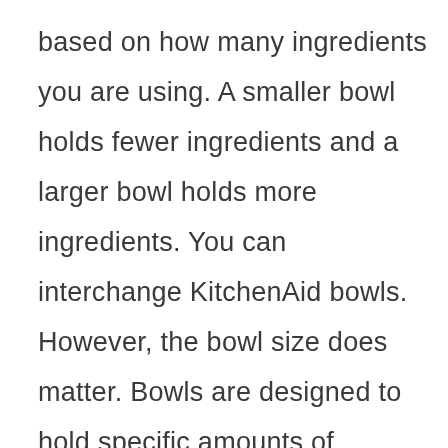based on how many ingredients you are using. A smaller bowl holds fewer ingredients and a larger bowl holds more ingredients. You can interchange KitchenAid bowls. However, the bowl size does matter. Bowls are designed to hold specific amounts of ingredients. Therefore, you cannot interchange